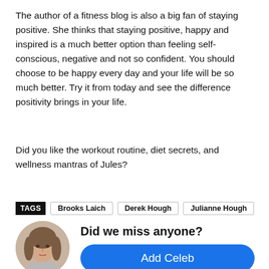The author of a fitness blog is also a big fan of staying positive. She thinks that staying positive, happy and inspired is a much better option than feeling self-conscious, negative and not so confident. You should choose to be happy every day and your life will be so much better. Try it from today and see the difference positivity brings in your life.
Did you like the workout routine, diet secrets, and wellness mantras of Jules?
TAGS  Brooks Laich  Derek Hough  Julianne Hough
[Figure (photo): Circular avatar photo of a young woman with long brown hair]
Did we miss anyone?
Add Celeb